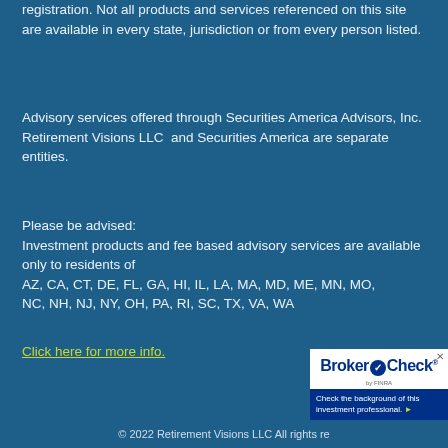registration. Not all products and services referenced on this site are available in every state, jurisdiction or from every person listed.
Advisory services offered through Securities America Advisors, Inc.  Retirement Visions LLC  and Securities America are separate entities.
Please be advised:
Investment products and fee based advisory services are available only to residents of
AZ, CA, CT, DE, FL, GA, HI, IL, LA, MA, MD, ME, MN, MO, NC, NH, NJ, NY, OH, PA, RI, SC, TX, VA, WA
Click here for more info.
[Figure (logo): BrokerCheck by FINRA badge with text: Check the background of this investment professional.]
© 2022 Retirement Visions LLC All rights re...